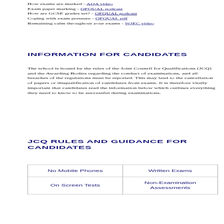How exams are marked - AQA video
Exam paper marking - OFQUAL podcast
How are GCSE grades set? - OFQUAL podcast
Coping with exam pressure - OFQUAL pdf
Remaining calm throughout your exams - WJEC video
INFORMATION FOR CANDIDATES
The school is bound by the rules of the Joint Council for Qualifications (JCQ) and the Awarding Bodies regarding the conduct of examinations, and all breaches of the regulations must be reported. This may lead to the cancellation of papers or disqualification of candidates from exams. It is therefore vitally important that candidates read the information below which outlines everything they need to know to be successful during examinations.
JCQ RULES AND GUIDANCE FOR CANDIDATES
| No Mobile Phones | Written Exams |
| On Screen Tests | Non-Examination Assessments |